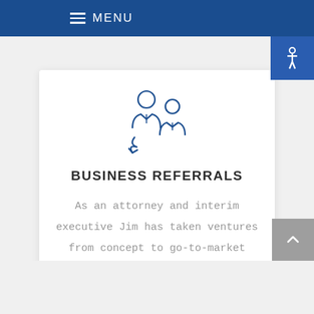MENU
[Figure (illustration): Icon of two business people with a circular arrow referral symbol, drawn in dark blue outline style]
BUSINESS REFERRALS
As an attorney and interim executive Jim has taken ventures from concept to go-to-market stage, managed start-